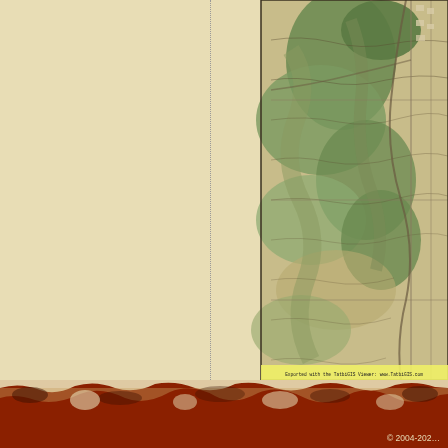[Figure (map): Aerial photography overlayed with USGS topographic contour lines showing terrain and road grid for Carroll County, Illinois. Exported with TatbiGIS Viewer watermark.]
Aerial Photography overlayed with US... You must purchase both USGS TOPO... Larger sample of Aerial with TOPO - P... Here are instructions for making the A...
2005 2 meter color imagery for Carroll... https://www.landsat.com/carroll-county-ill... 2005 Aerial Photography of Carroll Coun... & Global Mapper. Image Trader Product ID: CD-IL-17015-2nc2005 $19.99 New In Stock
© 2004-202...